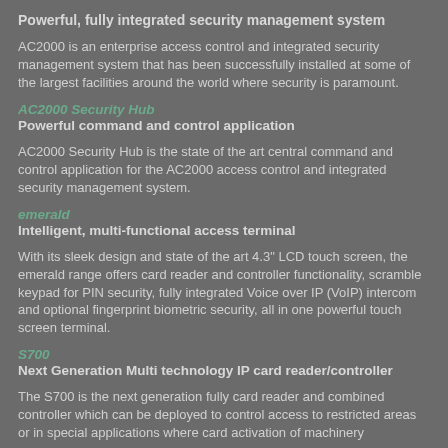Powerful, fully integrated security management system
AC2000 is an enterprise access control and integrated security management system that has been successfully installed at some of the largest facilities around the world where security is paramount.
AC2000 Security Hub
Powerful command and control application
AC2000 Security Hub is the state of the art central command and control application for the AC2000 access control and integrated security management system.
emerald
Intelligent, multi-functional access terminal
With its sleek design and state of the art 4.3" LCD touch screen, the emerald range offers card reader and controller functionality, scramble keypad for PIN security, fully integrated Voice over IP (VoIP) intercom and optional fingerprint biometric security, all in one powerful touch screen terminal.
S700
Next Generation Multi technology IP card reader/controller
The S700 is the next generation fully card reader and combined controller which can be deployed to control access to restricted areas or in special applications where card activation of machinery